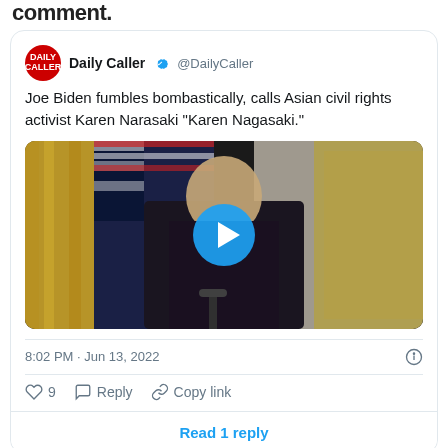comment.
[Figure (screenshot): Embedded tweet from @DailyCaller showing a video of Joe Biden at the White House with a play button overlay. Tweet text: 'Joe Biden fumbles bombastically, calls Asian civil rights activist Karen Narasaki "Karen Nagasaki."' Timestamp: 8:02 PM · Jun 13, 2022. 9 likes. Actions: Reply, Copy link. Read 1 reply button.]